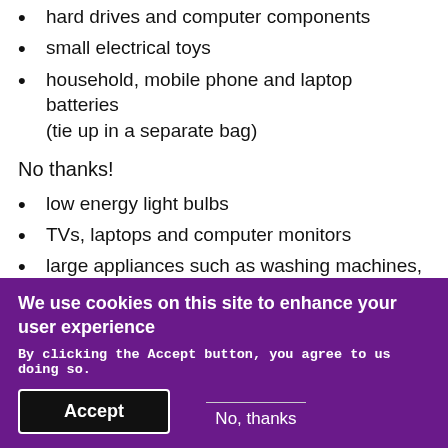hard drives and computer components
small electrical toys
household, mobile phone and laptop batteries (tie up in a separate bag)
No thanks!
low energy light bulbs
TVs, laptops and computer monitors
large appliances such as washing machines, dishwashers or fridge freezers
How to reuse or recycle electrical items
We use cookies on this site to enhance your user experience
By clicking the Accept button, you agree to us doing so.
Accept
No, thanks